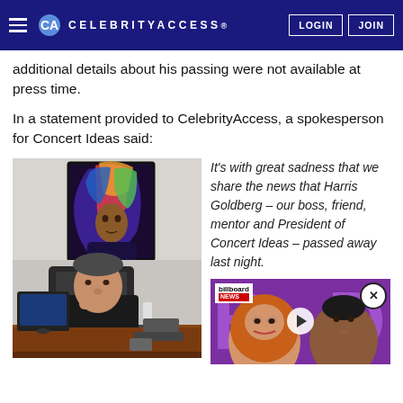CELEBRITY ACCESS. LOGIN JOIN
additional details about his passing were not available at press time.
In a statement provided to CelebrityAccess, a spokesperson for Concert Ideas said:
[Figure (photo): Man sitting at a desk in an office, viewed from the side, with a colorful portrait painting hanging on the wall behind him.]
It’s with great sadness that we share the news that Harris Goldberg – our boss, friend, mentor and President of Concert Ideas – passed away last night.
[Figure (screenshot): Billboard News video thumbnail showing two people, with a play button in the center and a close button (X) in the top right.]